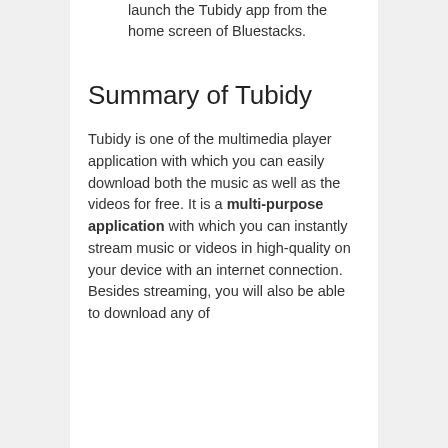launch the Tubidy app from the home screen of Bluestacks.
Summary of Tubidy
Tubidy is one of the multimedia player application with which you can easily download both the music as well as the videos for free. It is a multi-purpose application with which you can instantly stream music or videos in high-quality on your device with an internet connection. Besides streaming, you will also be able to download any of